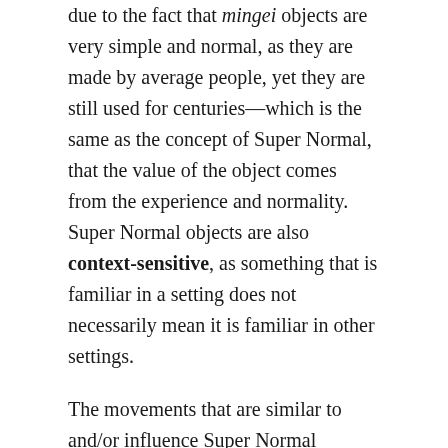due to the fact that mingei objects are very simple and normal, as they are made by average people, yet they are still used for centuries—which is the same as the concept of Super Normal, that the value of the object comes from the experience and normality. Super Normal objects are also context-sensitive, as something that is familiar in a setting does not necessarily mean it is familiar in other settings.
The movements that are similar to and/or influence Super Normal movement are Minimalism (1960s – 1970s) and Neo-Conceptualism (1970s – 1980s).
It is especially easy to mistake Super Normal and Minimalism due to the similar concept of simplicity. However, Minimalism is a design movement where the concept is reducing everything to the simplest form, but still with the visual aesthetic in mind. The focus of Minimalism is creating something that is simple, yet